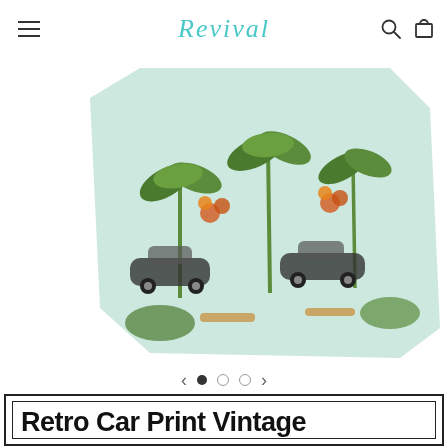Revival
[Figure (photo): Folded fabric with Hawaiian-style retro car print featuring vintage cars, palm trees, and tropical flowers on a light blue/white background.]
Retro Car Print Vintage